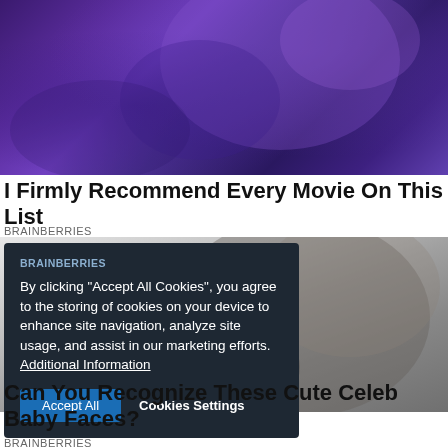[Figure (photo): Colorful purple and blue background image, appears to be a person or costume with flowing fabric in purple/violet tones]
I Firmly Recommend Every Movie On This List
BRAINBERRIES
[Figure (photo): Black and white photo of a child's face/profile, soft focus]
By clicking "Accept All Cookies", you agree to the storing of cookies on your device to enhance site navigation, analyze site usage, and assist in our marketing efforts. Additional Information
Can You Recognize These Cute Celeb Baby Faces?
BRAINBERRIES